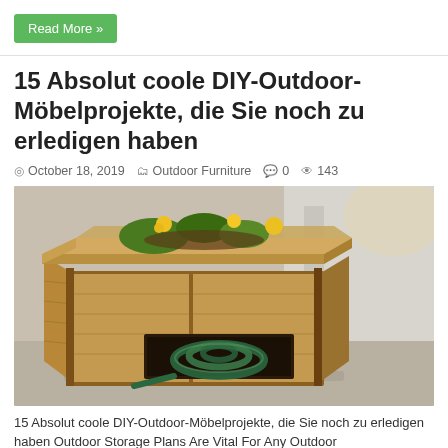Read More »
15 Absolut coole DIY-Outdoor-Möbelprojekte, die Sie noch zu erledigen haben
October 18, 2019  Outdoor Furniture  0  143
[Figure (photo): A wooden planter box with a hidden hose storage compartment underneath, containing a coiled green garden hose. Yellow flowers are visible in the top of the planter. The box is sitting on a concrete surface next to a white wall.]
15 Absolut coole DIY-Outdoor-Möbelprojekte, die Sie noch zu erledigen haben Outdoor Storage Plans Are Vital For Any Outdoor